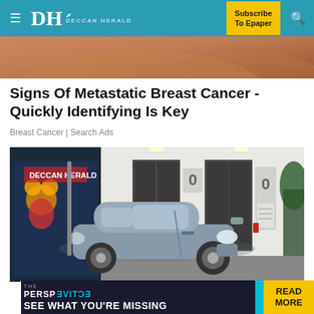DH DECCAN HERALD | Subscribe To Epaper
[Figure (photo): Partial view of a person, close-cropped skin/shoulder area, top strip image]
Signs Of Metastatic Breast Cancer - Quickly Identifying Is Key
Breast Cancer | Search Ads
[Figure (photo): A small smart car (silver/blue) parked in an indoor space with elevator doors visible in the background, a colorful Disney mural on the left wall]
[Figure (infographic): Bottom banner ad: THE PERSPECTIVE - SEE WHAT YOU'RE MISSING | READ MORE button]